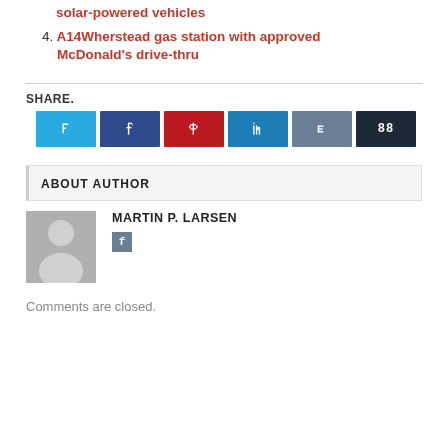solar-powered vehicles
4. A14Wherstead gas station with approved McDonald's drive-thru
[Figure (other): Social share buttons row: Twitter (blue), Facebook (dark blue), Pinterest (red), LinkedIn (blue), StumbleUpon (grey-blue), other (dark navy) with icons]
ABOUT AUTHOR
[Figure (photo): Generic user avatar placeholder - grey square with white silhouette of a person]
MARTIN P. LARSEN
Comments are closed.